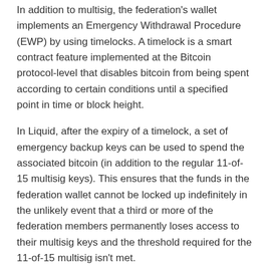In addition to multisig, the federation's wallet implements an Emergency Withdrawal Procedure (EWP) by using timelocks. A timelock is a smart contract feature implemented at the Bitcoin protocol-level that disables bitcoin from being spent according to certain conditions until a specified point in time or block height.
In Liquid, after the expiry of a timelock, a set of emergency backup keys can be used to spend the associated bitcoin (in addition to the regular 11-of-15 multisig keys). This ensures that the funds in the federation wallet cannot be locked up indefinitely in the unlikely event that a third or more of the federation members permanently loses access to their multisig keys and the threshold required for the 11-of-15 multisig isn't met.
Timelock Refresh
Upon peg-in, a timelock of 4,032 blocks (28 days) is set for each UTXO. To ensure that the emergency backup keys do not